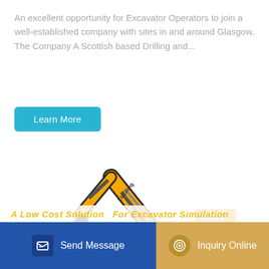An excellent opportunity for Excavator Operators to join a well-established company with sites in and around Glasgow. The Company A Scottish based Drilling and...
Learn More
[Figure (photo): A yellow LiuGong excavator on white background, with large bucket arm extended to the left and cab on the right, sitting on rubber tracks.]
Send Message
Inquiry Online
A Low Cost Solution For Excavator Simulation